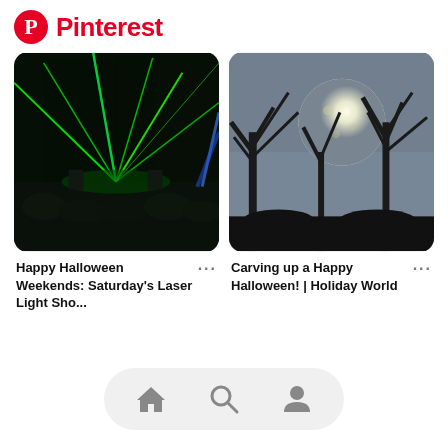Pinterest
[Figure (photo): Concert laser light show with green and blue beams over a dark crowd]
Happy Halloween Weekends: Saturday's Laser Light Sho...
[Figure (photo): Full moon behind dark silhouetted tree branches with spooky sculpture]
Carving up a Happy Halloween! | Holiday World
[Figure (other): App navigation bar with home, search, and profile icons]